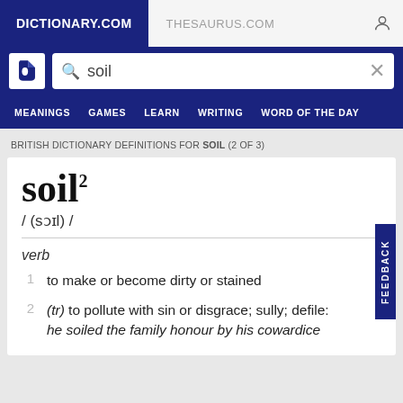DICTIONARY.COM   THESAURUS.COM
soil (search box)
MEANINGS   GAMES   LEARN   WRITING   WORD OF THE DAY
BRITISH DICTIONARY DEFINITIONS FOR SOIL (2 OF 3)
soil²
/ (sɔɪl) /
verb
1  to make or become dirty or stained
2  (tr) to pollute with sin or disgrace; sully; defile: he soiled the family honour by his cowardice